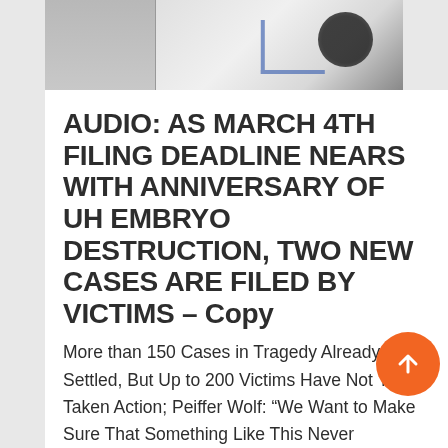[Figure (photo): Partial photo strip at top showing what appears to be medical/laboratory equipment, partially cropped]
AUDIO: AS MARCH 4TH FILING DEADLINE NEARS WITH ANNIVERSARY OF UH EMBRYO DESTRUCTION, TWO NEW CASES ARE FILED BY VICTIMS – Copy
More than 150 Cases in Tragedy Already Settled, But Up to 200 Victims Have Not Yet Taken Action; Peiffer Wolf: “We Want to Make Sure That Something Like This Never Happens Again.” CLEVELAND, OH – February 5, 2020 – Less than a month remains for an...